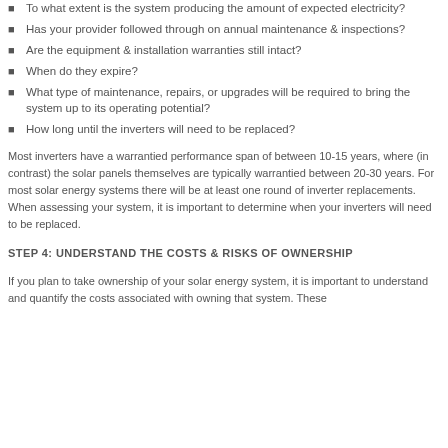To what extent is the system producing the amount of expected electricity?
Has your provider followed through on annual maintenance & inspections?
Are the equipment & installation warranties still intact?
When do they expire?
What type of maintenance, repairs, or upgrades will be required to bring the system up to its operating potential?
How long until the inverters will need to be replaced?
Most inverters have a warrantied performance span of between 10-15 years, where (in contrast) the solar panels themselves are typically warrantied between 20-30 years. For most solar energy systems there will be at least one round of inverter replacements. When assessing your system, it is important to determine when your inverters will need to be replaced.
STEP 4: UNDERSTAND THE COSTS & RISKS OF OWNERSHIP
If you plan to take ownership of your solar energy system, it is important to understand and quantify the costs associated with owning that system. These